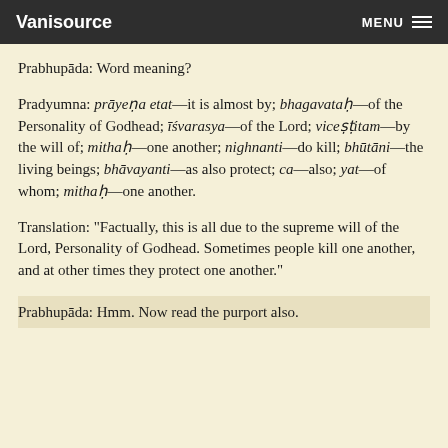Vanisource    MENU
Prabhupāda: Word meaning?
Pradyumna: prāyeṇa etat—it is almost by; bhagavataḥ—of the Personality of Godhead; īśvarasya—of the Lord; viceṣṭitam—by the will of; mithaḥ—one another; nighnanti—do kill; bhūtāni—the living beings; bhāvayanti—as also protect; ca—also; yat—of whom; mithaḥ—one another.
Translation: "Factually, this is all due to the supreme will of the Lord, Personality of Godhead. Sometimes people kill one another, and at other times they protect one another."
Prabhupāda: Hmm. Now read the purport also.